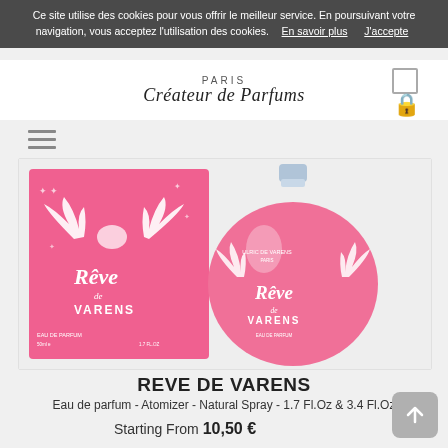Ce site utilise des cookies pour vous offrir le meilleur service. En poursuivant votre navigation, vous acceptez l'utilisation des cookies. En savoir plus J'accepte
[Figure (logo): PARIS / Créateur de Parfums brand logo with cart and lock icons]
[Figure (photo): Reve de Varens perfume product images: pink rectangular box with angel wings design and round pink bottle, Eau de Parfum, 50ml / 1.7 fl.oz]
REVE DE VARENS
Eau de parfum - Atomizer - Natural Spray - 1.7 Fl.Oz & 3.4 Fl.Oz
Starting From 10,50 €